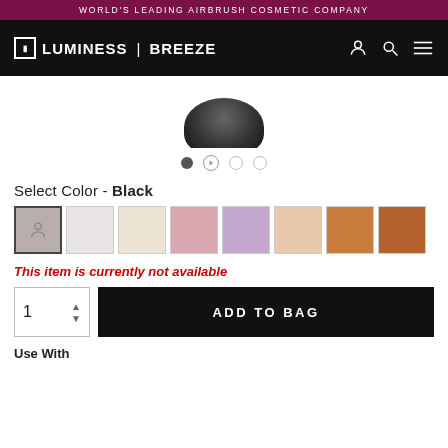WORLD'S LEADING AIRBRUSH COSMETIC COMPANY
[Figure (logo): Luminess Breeze logo on black navbar with user, search, and menu icons]
[Figure (photo): Product image - dark airbrush device partially visible at top center]
[Figure (other): Carousel navigation dots: filled dot, play button dot, empty dot, empty dot]
Select Color - Black
[Figure (other): Color swatches: gray (selected), light gray, cream, pink, lavender, peach, bronze, brown]
This item is currently not available
1  ADD TO BAG
Use With